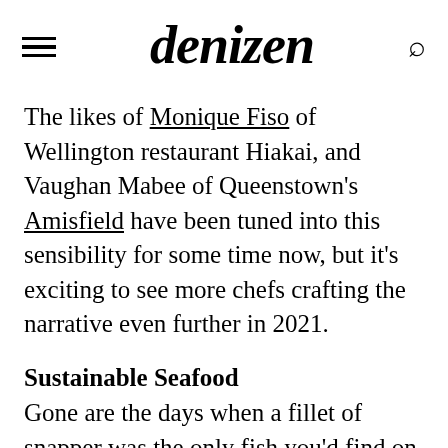denizen
The likes of Monique Fiso of Wellington restaurant Hiakai, and Vaughan Mabee of Queenstown's Amisfield have been tuned into this sensibility for some time now, but it's exciting to see more chefs crafting the narrative even further in 2021.
Sustainable Seafood
Gone are the days when a fillet of snapper was the only fish you'd find on